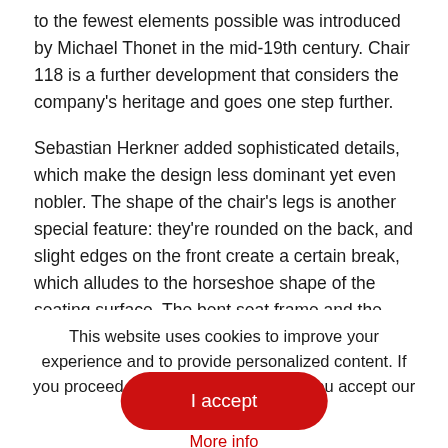to the fewest elements possible was introduced by Michael Thonet in the mid-19th century. Chair 118 is a further development that considers the company's heritage and goes one step further.
Sebastian Herkner added sophisticated details, which make the design less dominant yet even nobler. The shape of the chair's legs is another special feature: they're rounded on the back, and slight edges on the front create a certain break, which alludes to the horseshoe shape of the seating surface. The bent seat frame and the hand crafted seat covered with wicker cane refer to the
This website uses cookies to improve your experience and to provide personalized content. If you proceed to navigate our website, you accept our use of cookies.
More info
I accept